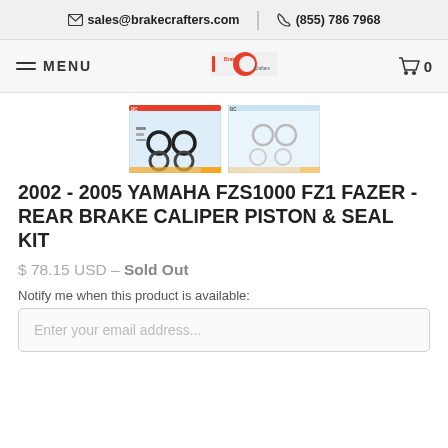sales@brakecrafters.com | (855) 786 7968
[Figure (logo): BrakeCrafters logo with navigation menu and cart icon]
[Figure (photo): Two product images of brake caliper piston and seal kit]
2002 - 2005 YAMAHA FZS1000 FZ1 FAZER - REAR BRAKE CALIPER PISTON & SEAL KIT
$ 78.15 USD – Sold Out
Notify me when this product is available:
Enter your email address...